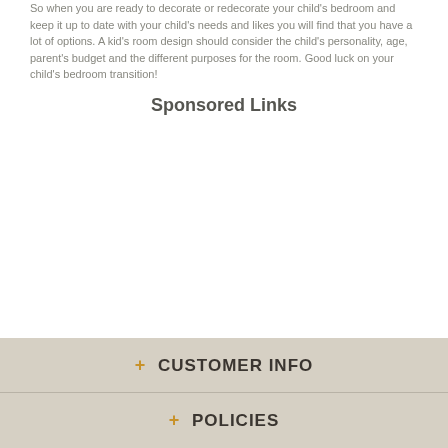So when you are ready to decorate or redecorate your child's bedroom and keep it up to date with your child's needs and likes you will find that you have a lot of options. A kid's room design should consider the child's personality, age, parent's budget and the different purposes for the room. Good luck on your child's bedroom transition!
Sponsored Links
+ CUSTOMER INFO
+ POLICIES